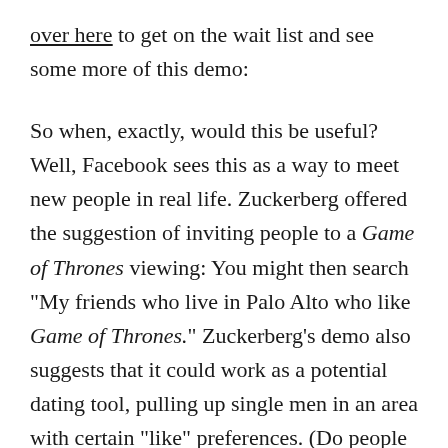over here to get on the wait list and see some more of this demo:
So when, exactly, would this be useful? Well, Facebook sees this as a way to meet new people in real life. Zuckerberg offered the suggestion of inviting people to a Game of Thrones viewing: You might then search "My friends who live in Palo Alto who like Game of Thrones." Zuckerberg's demo also suggests that it could work as a potential dating tool, pulling up single men in an area with certain "like" preferences. (Do people have enough guts to date like that?) Or Graph Search can spit out restaurant recommendations with queries like: "Restaurants in San Francisco liked by Culinary Institute of America graduates," explains Facebook